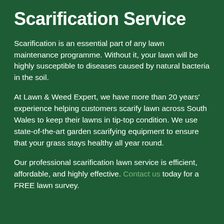Scarification Service
Scarification is an essential part of any lawn maintenance programme. Without it, your lawn will be highly susceptible to diseases caused by natural bacteria in the soil.
At Lawn & Weed Expert, we have more than 20 years' experience helping customers scarify lawn across South Wales to keep their lawns in tip-top condition. We use state-of-the-art garden scarifying equipment to ensure that your grass stays healthy all year round.
Our professional scarification lawn service is efficient, affordable, and highly effective. Contact us today for a FREE lawn survey.